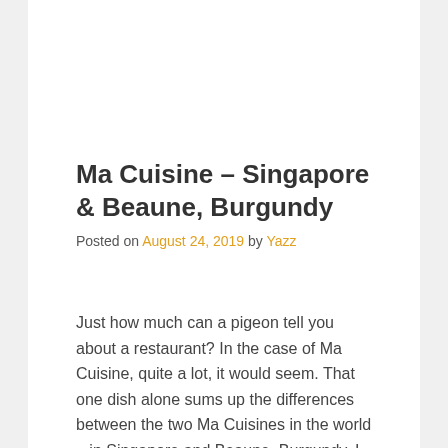Ma Cuisine – Singapore & Beaune, Burgundy
Posted on August 24, 2019 by Yazz
Just how much can a pigeon tell you about a restaurant? In the case of Ma Cuisine, quite a lot, it would seem. That one dish alone sums up the differences between the two Ma Cuisines in the world – in Singapore and Beaune, Burgundy. I was planning to write a